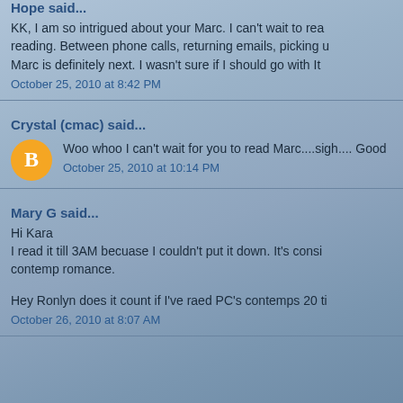Hope said...
KK, I am so intrigued about your Marc. I can't wait to read... reading. Between phone calls, returning emails, picking u... Marc is definitely next. I wasn't sure if I should go with It...
October 25, 2010 at 8:42 PM
Crystal (cmac) said...
Woo whoo I can't wait for you to read Marc....sigh.... Good...
October 25, 2010 at 10:14 PM
Mary G said...
Hi Kara
I read it till 3AM becuase I couldn't put it down. It's consi... contemp romance.
Hey Ronlyn does it count if I've raed PC's contemps 20 ti...
October 26, 2010 at 8:07 AM